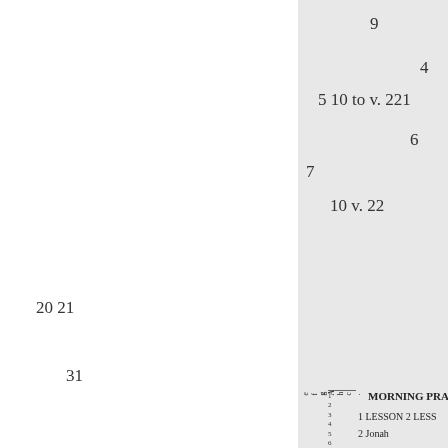9
4
5 10 to v. 221
6
7
10 v. 22
20 21
31
MORNING PRAY
1 LESSON 2 LESS
2 Jonah
1
11 v. 30 Jouah